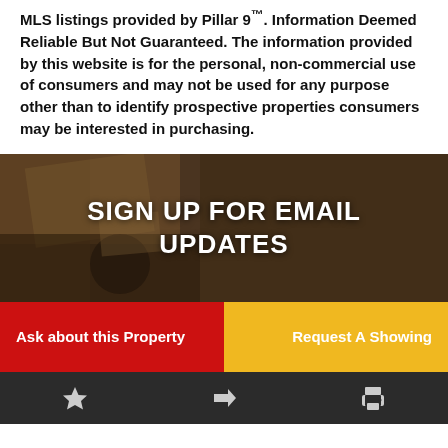MLS listings provided by Pillar 9™. Information Deemed Reliable But Not Guaranteed. The information provided by this website is for the personal, non-commercial use of consumers and may not be used for any purpose other than to identify prospective properties consumers may be interested in purchasing.
[Figure (photo): Dark background photo of what appears to be documents or a book on a wooden surface, with overlay text SIGN UP FOR EMAIL UPDATES]
SIGN UP FOR EMAIL UPDATES
Ask about this Property
Request A Showing
★ ➤ 🖨